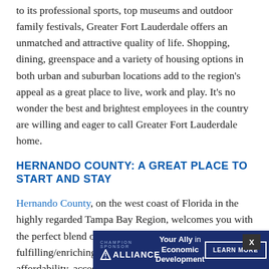to its professional sports, top museums and outdoor family festivals, Greater Fort Lauderdale offers an unmatched and attractive quality of life. Shopping, dining, greenspace and a variety of housing options in both urban and suburban locations add to the region's appeal as a great place to live, work and play. It's no wonder the best and brightest employees in the country are willing and eager to call Greater Fort Lauderdale home.
HERNANDO COUNTY: A GREAT PLACE TO START AND STAY
Hernando County, on the west coast of Florida in the highly regarded Tampa Bay Region, welcomes you with the perfect blend of business relocation, expansion and fulfilling/enriching lifestyle opportunities. Availability, affordability, accessibility and community, that's what it's all about.
The Broo... Center (BKV) p... north of
[Figure (other): Advertisement banner overlay: dark navy background with 'ALLIANCE - Your Ally in Economic Development - LEARN MORE' button]